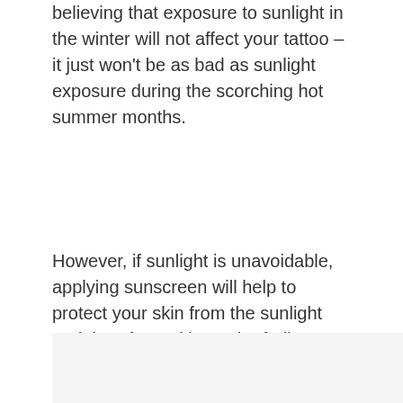believing that exposure to sunlight in the winter will not affect your tattoo – it just won't be as bad as sunlight exposure during the scorching hot summer months.
However, if sunlight is unavoidable, applying sunscreen will help to protect your skin from the sunlight and therefore mitigate the fading effect. It is recommended that you use sunscreen with a 30-50 SPF. What would be more helpful is to cover your tattoo with at least one layer of clothing, which will protect your skin from UV rays.